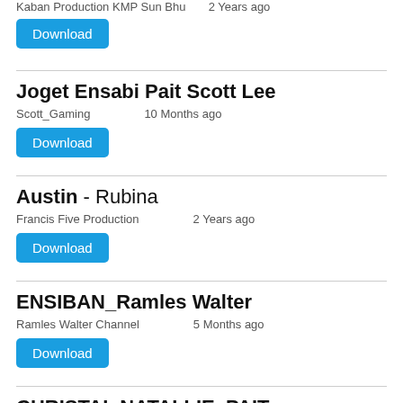Kaban Production KMP Sun Bhu    2 Years ago
Download
Joget Ensabi Pait Scott Lee
Scott_Gaming    10 Months ago
Download
Austin - Rubina
Francis Five Production    2 Years ago
Download
ENSIBAN_Ramles Walter
Ramles Walter Channel    5 Months ago
Download
CHRISTAL NATALLIE_PAIT
OCH SOUND PRODUCTION    2 Years ago
Download